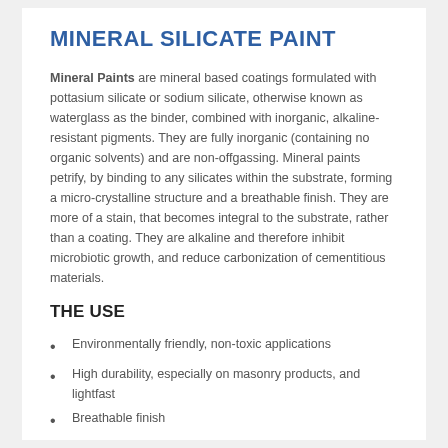MINERAL SILICATE PAINT
Mineral Paints are mineral based coatings formulated with pottasium silicate or sodium silicate, otherwise known as waterglass as the binder, combined with inorganic, alkaline-resistant pigments. They are fully inorganic (containing no organic solvents) and are non-offgassing. Mineral paints petrify, by binding to any silicates within the substrate, forming a micro-crystalline structure and a breathable finish. They are more of a stain, that becomes integral to the substrate, rather than a coating. They are alkaline and therefore inhibit microbiotic growth, and reduce carbonization of cementitious materials.
THE USE
Environmentally friendly, non-toxic applications
High durability, especially on masonry products, and lightfast
Breathable finish
Acid rain resistance